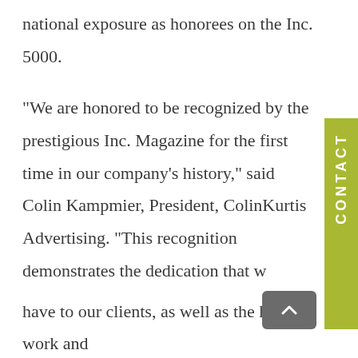national exposure as honorees on the Inc. 5000.

“We are honored to be recognized by the prestigious Inc. Magazine for the first time in our company’s history,” said Colin Kampmier, President, ColinKurtis Advertising. “This recognition demonstrates the dedication that we have to our clients, as well as the hard work and resilience displayed throughout the current pandemic. As a marketing agency that’s focused on delivering high-impact innovative solutions, we celebrate this honor with our clients who have